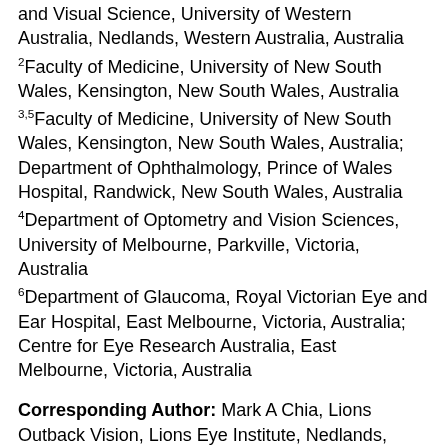and Visual Science, University of Western Australia, Nedlands, Western Australia, Australia
2Faculty of Medicine, University of New South Wales, Kensington, New South Wales, Australia
3,5Faculty of Medicine, University of New South Wales, Kensington, New South Wales, Australia; Department of Ophthalmology, Prince of Wales Hospital, Randwick, New South Wales, Australia
4Department of Optometry and Vision Sciences, University of Melbourne, Parkville, Victoria, Australia
6Department of Glaucoma, Royal Victorian Eye and Ear Hospital, East Melbourne, Victoria, Australia; Centre for Eye Research Australia, East Melbourne, Victoria, Australia
Corresponding Author: Mark A Chia, Lions Outback Vision, Lions Eye Institute, Nedlands, Western Australia, Australia; Centre for Ophthalmology and Visual Science, University of Western Australia, Nedlands, Western Australia, Australia, Phone: +61 893810802, e-mail: mark.a.chia@outlook.com